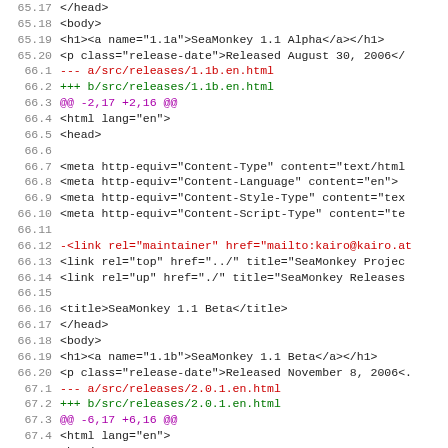Code diff showing file changes for SeaMonkey release HTML files (1.1a, 1.1b, 2.0.1). Lines 65.17-67.9 showing diff output with line numbers, removed lines in red, added lines in green, and hunk headers in magenta.